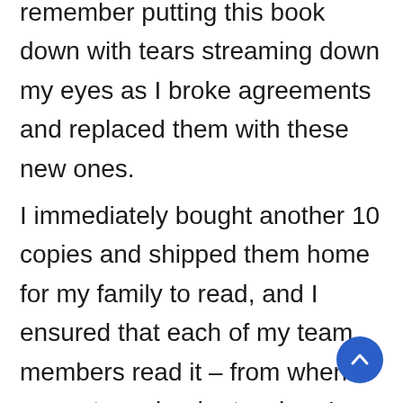remember putting this book down with tears streaming down my eyes as I broke agreements and replaced them with these new ones.
I immediately bought another 10 copies and shipped them home for my family to read, and I ensured that each of my team members read it – from when I was a team leader to when I created Artha. I bought this book repeatedly, re-reading it every year or two to refresh the